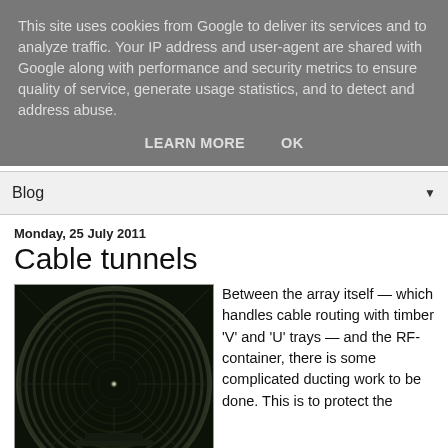This site uses cookies from Google to deliver its services and to analyze traffic. Your IP address and user-agent are shared with Google along with performance and security metrics to ensure quality of service, generate usage statistics, and to detect and address abuse.
LEARN MORE    OK
Blog
Monday, 25 July 2011
Cable tunnels
[Figure (photo): Interior view of a circular metal cable tunnel with corrugated walls, showing cables running along the bottom and a bright light source at the far end.]
Between the array itself — which handles cable routing with timber 'V' and 'U' trays — and the RF-container, there is some complicated ducting work to be done. This is to protect the...